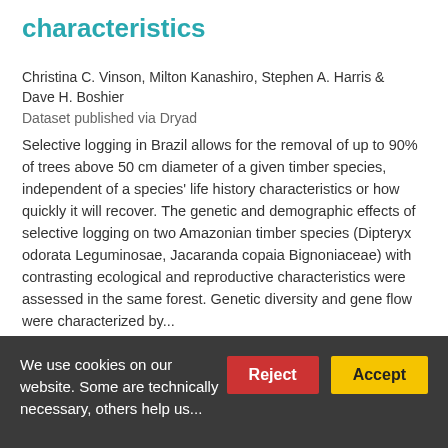characteristics
Christina C. Vinson, Milton Kanashiro, Stephen A. Harris & Dave H. Boshier
Dataset published via Dryad
Selective logging in Brazil allows for the removal of up to 90% of trees above 50 cm diameter of a given timber species, independent of a species' life history characteristics or how quickly it will recover. The genetic and demographic effects of selective logging on two Amazonian timber species (Dipteryx odorata Leguminosae, Jacaranda copaia Bignoniaceae) with contrasting ecological and reproductive characteristics were assessed in the same forest. Genetic diversity and gene flow were characterized by...
2 citations  459 views  266 downloads
We use cookies on our website. Some are technically necessary, others help us...